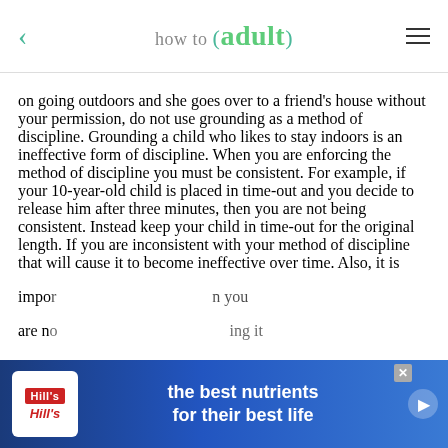how to (adult)
on going outdoors and she goes over to a friend's house without your permission, do not use grounding as a method of discipline. Grounding a child who likes to stay indoors is an ineffective form of discipline. When you are enforcing the method of discipline you must be consistent. For example, if your 10-year-old child is placed in time-out and you decide to release him after three minutes, then you are not being consistent. Instead keep your child in time-out for the original length. If you are inconsistent with your method of discipline that will cause it to become ineffective over time. Also, it is impor... n you are n... ing it
[Figure (screenshot): Hill's pet nutrition advertisement banner: blue background, Hill's logo on left, text 'the best nutrients for their best life' in white bold, arrow button on right, close button top right]